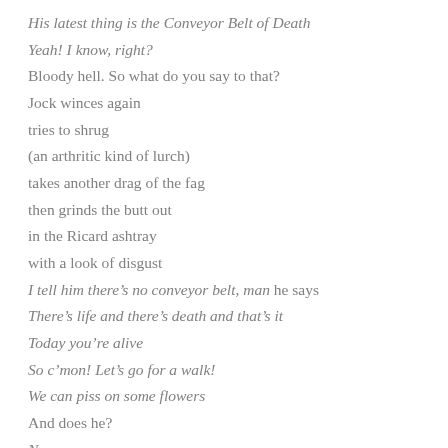His latest thing is the Conveyor Belt of Death
Yeah! I know, right?
Bloody hell. So what do you say to that?
Jock winces again
tries to shrug
(an arthritic kind of lurch)
takes another drag of the fag
then grinds the butt out
in the Ricard ashtray
with a look of disgust
I tell him there’s no conveyor belt, man he says
There’s life and there’s death and that’s it
Today you’re alive
So c’mon! Let’s go for a walk!
We can piss on some flowers
And does he?
No